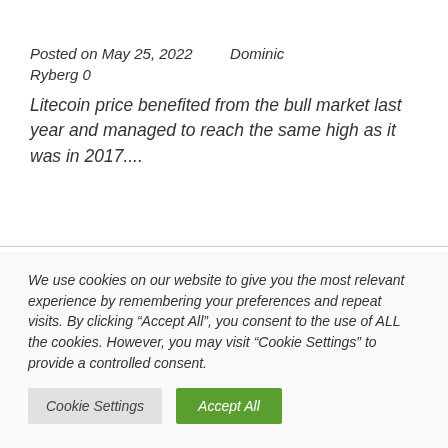Posted on May 25, 2022   Dominic Ryberg 0
Litecoin price benefited from the bull market last year and managed to reach the same high as it was in 2017....
We use cookies on our website to give you the most relevant experience by remembering your preferences and repeat visits. By clicking “Accept All”, you consent to the use of ALL the cookies. However, you may visit “Cookie Settings” to provide a controlled consent.